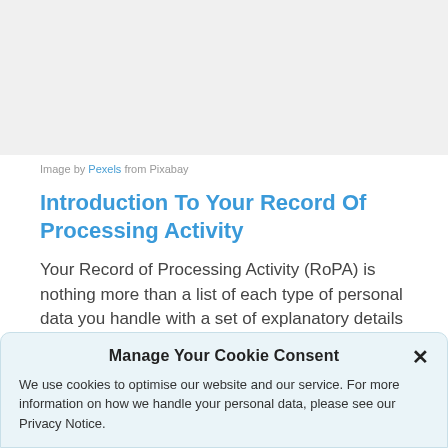[Figure (photo): Blank/grey image area at top of page]
Image by Pexels from Pixabay
Introduction To Your Record Of Processing Activity
Your Record of Processing Activity (RoPA) is nothing more than a list of each type of personal data you handle with a set of explanatory details that show the what, when, why, where and how
Manage Your Cookie Consent
We use cookies to optimise our website and our service. For more information on how we handle your personal data, please see our Privacy Notice.